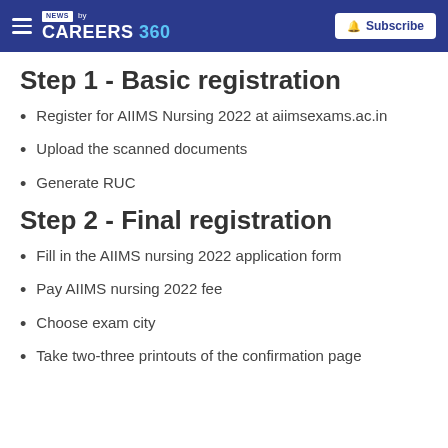NEWS by CAREERS 360 | Subscribe
Step 1 - Basic registration
Register for AIIMS Nursing 2022 at aiimsexams.ac.in
Upload the scanned documents
Generate RUC
Step 2 - Final registration
Fill in the AIIMS nursing 2022 application form
Pay AIIMS nursing 2022 fee
Choose exam city
Take two-three printouts of the confirmation page